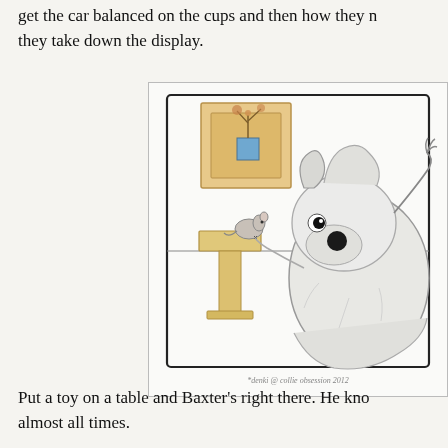get the car balanced on the cups and then how they needed to take down the display.
[Figure (illustration): Cartoon illustration of a white dog (Baxter) looking at a small mouse/toy on a pedestal table inside a room with a framed plant picture on the wall. Attribution watermark: *denki @ collie obsession 2012]
Put a toy on a table and Baxter's right there. He knows where the goods are at almost all times.